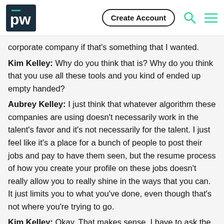[Figure (logo): PW logo in dark navy box with teal accent bar, followed by Create Account button, search icon, and hamburger menu icon]
corporate company if that's something that I wanted.
Kim Kelley: Why do you think that is? Why do you think that you use all these tools and you kind of ended up empty handed?
Aubrey Kelley: I just think that whatever algorithm these companies are using doesn't necessarily work in the talent's favor and it's not necessarily for the talent. I just feel like it's a place for a bunch of people to post their jobs and pay to have them seen, but the resume process of how you create your profile on these jobs doesn't really allow you to really shine in the ways that you can. It just limits you to what you've done, even though that's not where you're trying to go.
Kim Kelley: Okay. That makes sense. I have to ask the big question, because as a college student that went into debt to